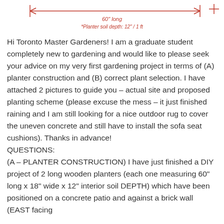[Figure (engineering-diagram): Dimension line showing 60 inches long measurement for a planter, with red arrows on each end and annotation text '60" long' and '*Planter soil depth: 12" / 1 ft' in red italic text below]
Hi Toronto Master Gardeners! I am a graduate student completely new to gardening and would like to please seek your advice on my very first gardening project in terms of (A) planter construction and (B) correct plant selection. I have attached 2 pictures to guide you – actual site and proposed planting scheme (please excuse the mess – it just finished raining and I am still looking for a nice outdoor rug to cover the uneven concrete and still have to install the sofa seat cushions). Thanks in advance! QUESTIONS: (A – PLANTER CONSTRUCTION) I have just finished a DIY project of 2 long wooden planters (each one measuring 60" long x 18" wide x 12" interior soil DEPTH) which have been positioned on a concrete patio and against a brick wall (EAST facing site, to receive morning sunlight, blocked by the